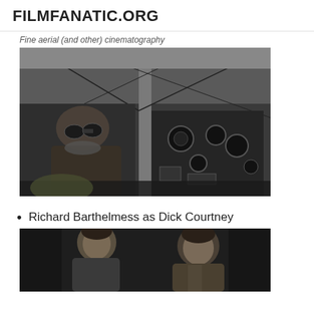FILMFANATIC.ORG
Fine aerial (and other) cinematography
[Figure (photo): Black and white still from a film showing a pilot wearing a leather helmet and goggles seated in a biplane cockpit, with struts and rigging visible overhead.]
Richard Barthelmess as Dick Courtney
[Figure (photo): Black and white still showing two men in a scene, partially cropped at bottom of page.]